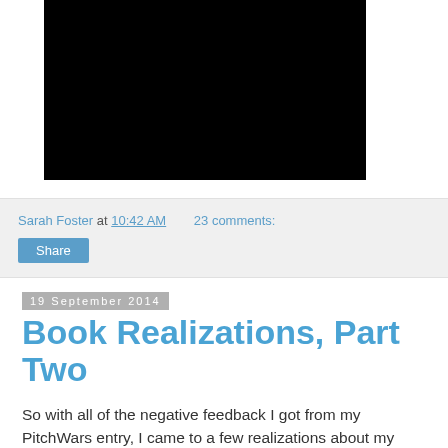[Figure (photo): Black rectangular image, partially visible at top of page]
Sarah Foster at 10:42 AM   23 comments:
Share
19 September 2014
Book Realizations, Part Two
So with all of the negative feedback I got from my PitchWars entry, I came to a few realizations about my book. The first was something I pretty much knew the whole time, and the second is something I've thought and thought about but didn't realize I had made the wrong decision until I got this feedback.
First of all, my query sucked. This is mostly because of